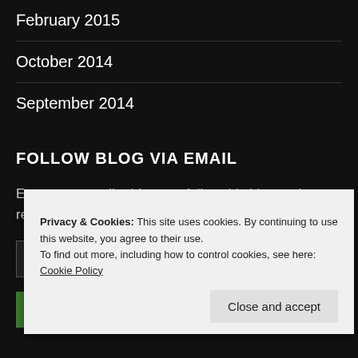February 2015
October 2014
September 2014
FOLLOW BLOG VIA EMAIL
Enter your email address to follow this blog and receive notifications of new posts by email.
Email Address
FOLLOW
Privacy & Cookies: This site uses cookies. By continuing to use this website, you agree to their use.
To find out more, including how to control cookies, see here: Cookie Policy
Close and accept